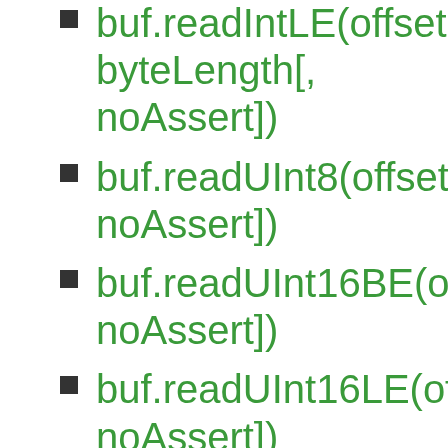buf.readIntLE(offset, byteLength[, noAssert])
buf.readUInt8(offset[, noAssert])
buf.readUInt16BE(offset[, noAssert])
buf.readUInt16LE(offset[, noAssert])
buf.readUInt32BE(offset[, noAssert])